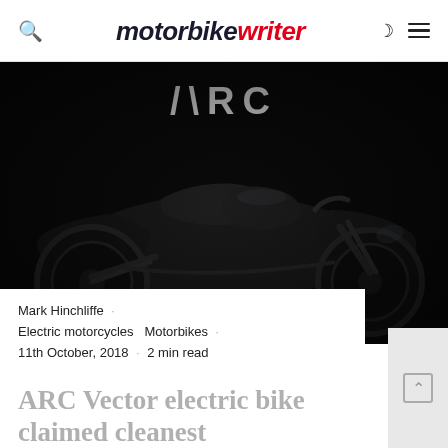motorbike writer
[Figure (photo): Dark silhouette of a sportbike motorcycle against a black background, with the 'ARC' logo visible at the top of the image in white lettering]
Mark Hinchliffe · Electric motorcycles  Motorbikes · 11th October, 2018 · 2 min read
ARC Vector electric bike claimed cleanest